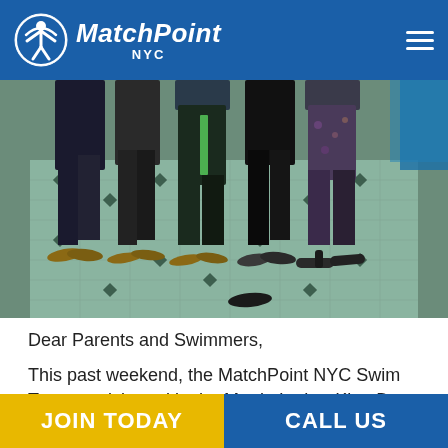MatchPoint NYC
[Figure (photo): Group of swimmers standing poolside, shown from waist down, wearing swimwear and sandals on a tiled pool deck]
Dear Parents and Swimmers,
This past weekend, the MatchPoint NYC Swim Team participated in the Martin Luther King Day Swim Meet
JOIN TODAY   CALL US